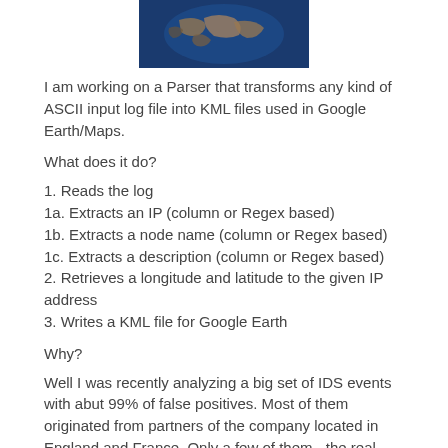[Figure (photo): Satellite or globe image showing Earth from space, dark blue background with landmasses visible]
I am working on a Parser that transforms any kind of ASCII input log file into KML files used in Google Earth/Maps.
What does it do?
1. Reads the log
1a. Extracts an IP (column or Regex based)
1b. Extracts a node name (column or Regex based)
1c. Extracts a description (column or Regex based)
2. Retrieves a longitude and latitude to the given IP address
3. Writes a KML file for Google Earth
Why?
Well I was recently analyzing a big set of IDS events with abut 99% of false positives. Most of them originated from partners of the company located in England and France. Only a few of them - the real positives - originated from countries like Iran, Pakistan, Brazil, Russia and China.
That way it was really smooth to determine the real